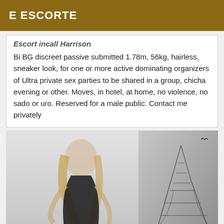E ESCORTE
Escort incall Harrison
Bi BG discreet passive submitted 1.78m, 56kg, hairless, sneaker look, for one or more active dominating organizers of Ultra private sex parties to be shared in a group, chicha evening or other. Moves, in hotel, at home, no violence, no sado or uro. Reserved for a male public. Contact me privately
[Figure (photo): Photo of a blonde woman in black dress with Eiffel Tower in background]